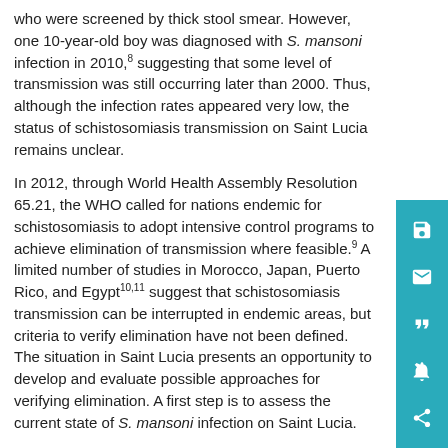who were screened by thick stool smear. However, one 10-year-old boy was diagnosed with S. mansoni infection in 2010,8 suggesting that some level of transmission was still occurring later than 2000. Thus, although the infection rates appeared very low, the status of schistosomiasis transmission on Saint Lucia remains unclear.
In 2012, through World Health Assembly Resolution 65.21, the WHO called for nations endemic for schistosomiasis to adopt intensive control programs to achieve elimination of transmission where feasible.9 A limited number of studies in Morocco, Japan, Puerto Rico, and Egypt10,11 suggest that schistosomiasis transmission can be interrupted in endemic areas, but criteria to verify elimination have not been defined. The situation in Saint Lucia presents an opportunity to develop and evaluate possible approaches for verifying elimination. A first step is to assess the current state of S. mansoni infection on Saint Lucia.
METHODS
Survey population.